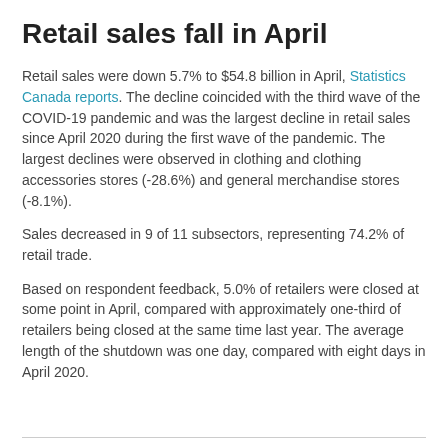Retail sales fall in April
Retail sales were down 5.7% to $54.8 billion in April, Statistics Canada reports. The decline coincided with the third wave of the COVID-19 pandemic and was the largest decline in retail sales since April 2020 during the first wave of the pandemic. The largest declines were observed in clothing and clothing accessories stores (-28.6%) and general merchandise stores (-8.1%).
Sales decreased in 9 of 11 subsectors, representing 74.2% of retail trade.
Based on respondent feedback, 5.0% of retailers were closed at some point in April, compared with approximately one-third of retailers being closed at the same time last year. The average length of the shutdown was one day, compared with eight days in April 2020.